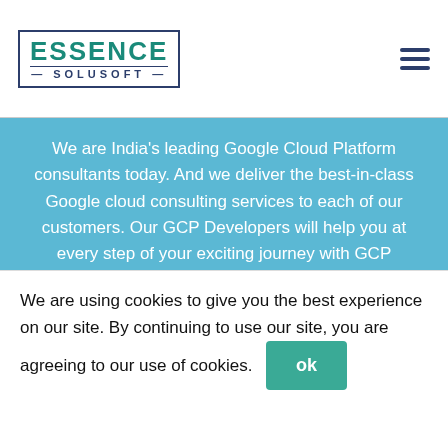[Figure (logo): Essence Solusoft company logo with teal text and navy blue border and subtitle]
We are India's leading Google Cloud Platform consultants today. And we deliver the best-in-class Google cloud consulting services to each of our customers. Our GCP Developers will help you at every step of your exciting journey with GCP Consulting. Do you want to migrate your web application to GCP? Or looking to hire GCP Developers to expand your GCP, or manage your GCP? We assure you of the most transparent, efficient and economic Google Cloud consulting for your every need.
Contact us, now!
We are using cookies to give you the best experience on our site. By continuing to use our site, you are agreeing to our use of cookies.